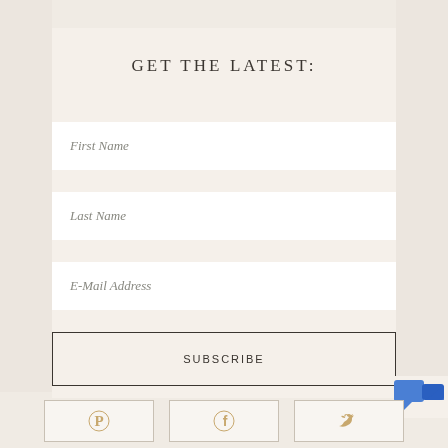GET THE LATEST:
First Name
Last Name
E-Mail Address
SUBSCRIBE
[Figure (logo): Pinterest icon in tan/gold color inside a bordered rectangle button]
[Figure (logo): Facebook icon in tan/gold color inside a bordered rectangle button]
[Figure (logo): Twitter bird icon in tan/gold color inside a bordered rectangle button]